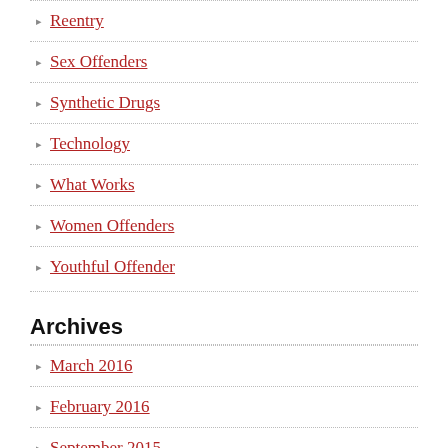Reentry
Sex Offenders
Synthetic Drugs
Technology
What Works
Women Offenders
Youthful Offender
Archives
March 2016
February 2016
September 2015
December 2014